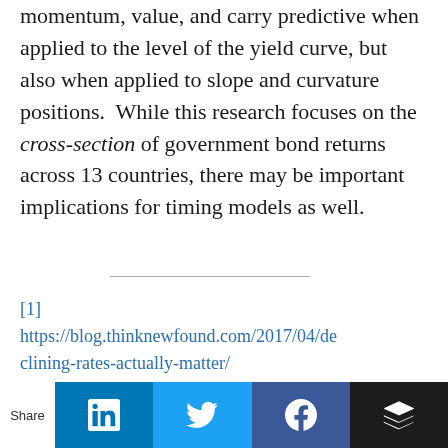momentum, value, and carry predictive when applied to the level of the yield curve, but also when applied to slope and curvature positions. While this research focuses on the cross-section of government bond returns across 13 countries, there may be important implications for timing models as well.
[1] https://blog.thinknewfound.com/2017/04/declining-rates-actually-matter/
Share